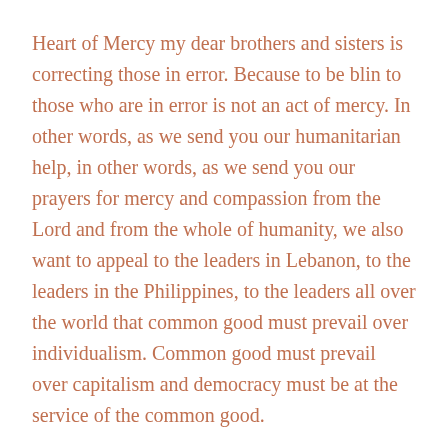Heart of Mercy my dear brothers and sisters is correcting those in error. Because to be blin to those who are in error is not an act of mercy. In other words, as we send you our humanitarian help, in other words, as we send you our prayers for mercy and compassion from the Lord and from the whole of humanity, we also want to appeal to the leaders in Lebanon, to the leaders in the Philippines, to the leaders all over the world that common good must prevail over individualism. Common good must prevail over capitalism and democracy must be at the service of the common good.
In the Philippines, in America, in Europe, in Lebanon the church stands not just to extend humanitarian help. The church stands as an act of mercy correcting error because to correct those in error is a great act of mercy that this world needs. Because seeing error and seeing